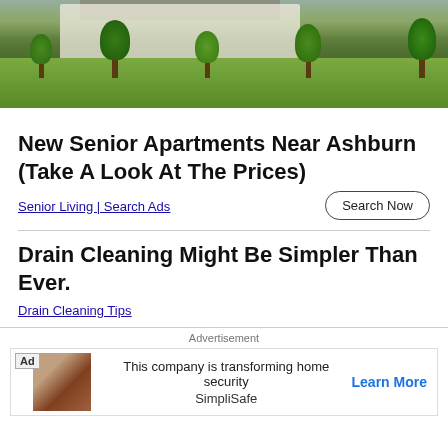[Figure (photo): Exterior photo of a white residential house or apartment building with a green lawn, trees, and landscaping in front, taken on a sunny day.]
New Senior Apartments Near Ashburn (Take A Look At The Prices)
Senior Living | Search Ads
Search Now
Drain Cleaning Might Be Simpler Than Ever.
Drain Cleaning Tips
Advertisement
This company is transforming home security
SimpliSafe
Learn More